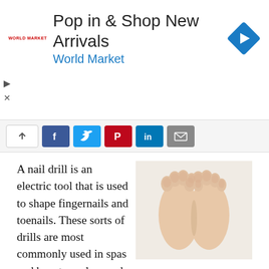[Figure (screenshot): Advertisement banner for World Market: 'Pop in & Shop New Arrivals' with World Market logo and blue navigation icon]
[Figure (screenshot): Social media share bar with up arrow, Facebook, Twitter, Pinterest, LinkedIn, and email buttons]
[Figure (photo): Close-up photo of two bare feet with natural unpainted toenails on a white background]
A nail drill is an electric tool that is used to shape fingernails and toenails. These sorts of drills are most commonly used in spas and beauty parlors and are rarely purchased for personal use in homes. In fact, for safety purposes, it is best if these kinds of drills are only operated by trained nail technicians. The main purpose of a nail drill is to file down the